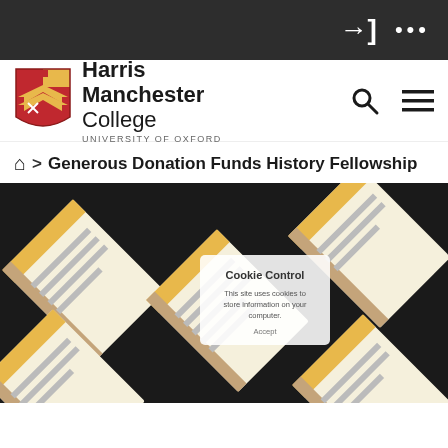Harris Manchester College – University of Oxford
⌂ > Generous Donation Funds History Fellowship
[Figure (illustration): Decorative abstract illustration of stylized open books or documents arranged diagonally, in yellow, black, cream, and brown tones, with a semi-transparent cookie consent overlay in the center.]